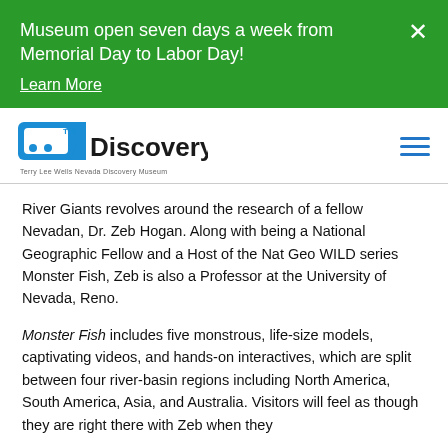Museum open seven days a week from Memorial Day to Labor Day! Learn More
[Figure (logo): The Discovery - Terry Lee Wells Nevada Discovery Museum logo with blue fish icon]
River Giants revolves around the research of a fellow Nevadan, Dr. Zeb Hogan. Along with being a National Geographic Fellow and a Host of the Nat Geo WILD series Monster Fish, Zeb is also a Professor at the University of Nevada, Reno.
Monster Fish includes five monstrous, life-size models, captivating videos, and hands-on interactives, which are split between four river-basin regions including North America, South America, Asia, and Australia. Visitors will feel as though they are right there with Zeb when they